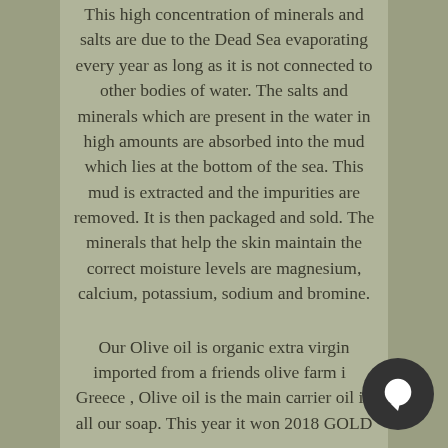This high concentration of minerals and salts are due to the Dead Sea evaporating every year as long as it is not connected to other bodies of water. The salts and minerals which are present in the water in high amounts are absorbed into the mud which lies at the bottom of the sea. This mud is extracted and the impurities are removed. It is then packaged and sold. The minerals that help the skin maintain the correct moisture levels are magnesium, calcium, potassium, sodium and bromine.
Our Olive oil is organic extra virgin imported from a friends olive farm in Greece , Olive oil is the main carrier oil in all our soap. This year it won 2018 GOLD